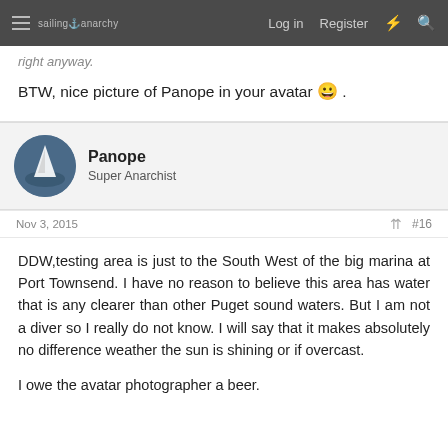sailing anarchy  Log in  Register
right anyway.
BTW, nice picture of Panope in your avatar 😀 .
Panope
Super Anarchist
Nov 3, 2015  #16
DDW,testing area is just to the South West of the big marina at Port Townsend. I have no reason to believe this area has water that is any clearer than other Puget sound waters. But I am not a diver so I really do not know. I will say that it makes absolutely no difference weather the sun is shining or if overcast.
I owe the avatar photographer a beer.